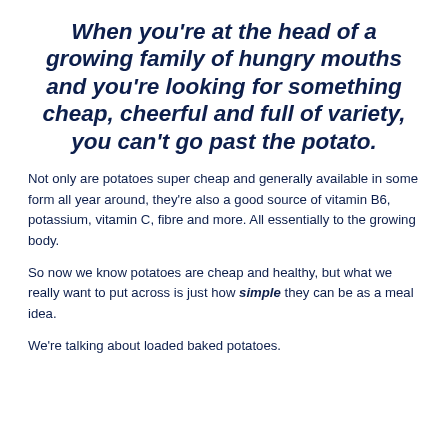When you're at the head of a growing family of hungry mouths and you're looking for something cheap, cheerful and full of variety, you can't go past the potato.
Not only are potatoes super cheap and generally available in some form all year around, they're also a good source of vitamin B6, potassium, vitamin C, fibre and more. All essentially to the growing body.
So now we know potatoes are cheap and healthy, but what we really want to put across is just how simple they can be as a meal idea.
We're talking about loaded baked potatoes.